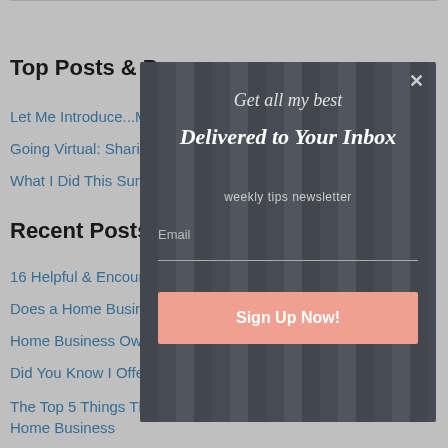Top Posts & Pages
Let Me Introduce...M…
Going Virtual: Shari…
What I Did This Sum…
Recent Posts
16 Helpful & Encour…
Does a Home Busin…
Home Business Ow…
Did You Know I Offe…
The Top 5 Things That Were Wise Investments for My Home Business
[Figure (screenshot): Email newsletter signup modal overlay with dark grey panelled background. Title reads 'Get all my best' in italic script, 'Delivered to Your Inbox' in bold italic, 'weekly tips newsletter' subtitle, Email input field, and a salmon-colored 'Sign Up Now!' button. Close X button in top right.]